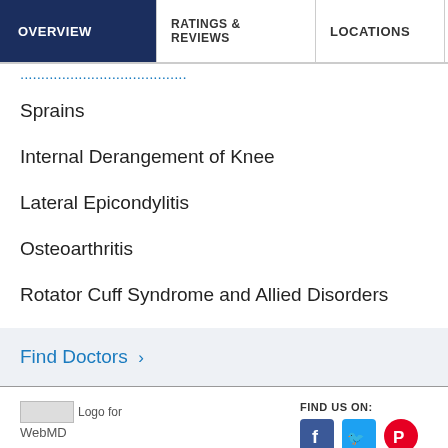OVERVIEW | RATINGS & REVIEWS | LOCATIONS | EX
Sprains
Internal Derangement of Knee
Lateral Epicondylitis
Osteoarthritis
Rotator Cuff Syndrome and Allied Disorders
Find Doctors >
[Figure (logo): Logo for WebMD]
FIND US ON: